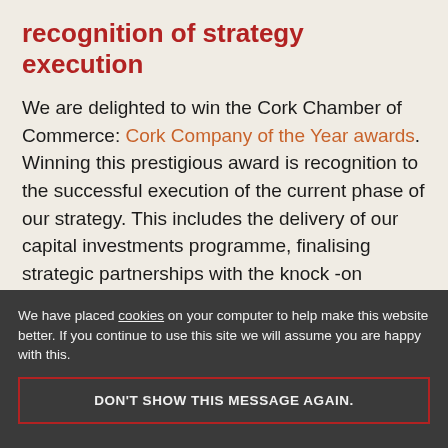recognition of strategy execution
We are delighted to win the Cork Chamber of Commerce: Cork Company of the Year awards. Winning this prestigious award is recognition to the successful execution of the current phase of our strategy. This includes the delivery of our capital investments programme, finalising strategic partnerships with the knock -on economic benefits being delivered to the wider Cork region. All made possible, by the commitment and work ethic
We have placed cookies on your computer to help make this website better. If you continue to use this site we will assume you are happy with this.
DON'T SHOW THIS MESSAGE AGAIN.